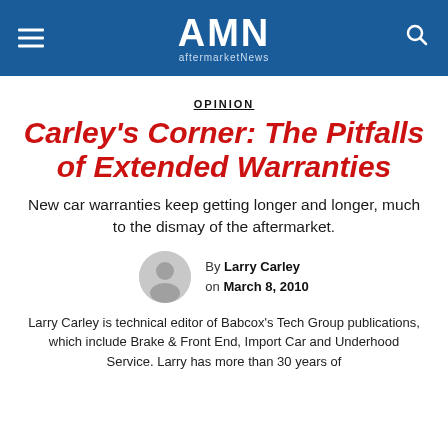AMN aftermarketNews
OPINION
Carley's Corner: The Pitfalls of Extended Warranties
New car warranties keep getting longer and longer, much to the dismay of the aftermarket.
By Larry Carley on March 8, 2010
Larry Carley is technical editor of Babcox's Tech Group publications, which include Brake & Front End, Import Car and Underhood Service. Larry has more than 30 years of